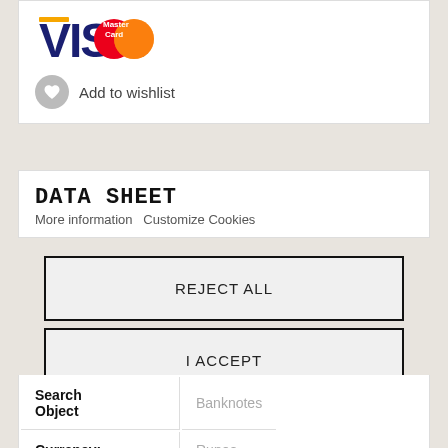[Figure (logo): VISA and MasterCard payment logos side by side]
Add to wishlist
DATA SHEET
More information   Customize Cookies
REJECT ALL
I ACCEPT
| Search Object | Banknotes |
| Currency: | Rupee |
| Facial: | 20 |